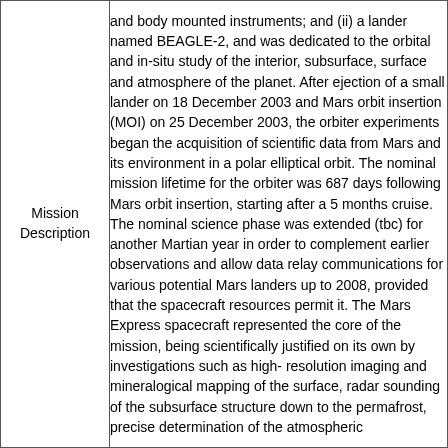|  |  |
| --- | --- |
| Mission Description | and body mounted instruments; and (ii) a lander named BEAGLE-2, and was dedicated to the orbital and in-situ study of the interior, subsurface, surface and atmosphere of the planet. After ejection of a small lander on 18 December 2003 and Mars orbit insertion (MOI) on 25 December 2003, the orbiter experiments began the acquisition of scientific data from Mars and its environment in a polar elliptical orbit. The nominal mission lifetime for the orbiter was 687 days following Mars orbit insertion, starting after a 5 months cruise. The nominal science phase was extended (tbc) for another Martian year in order to complement earlier observations and allow data relay communications for various potential Mars landers up to 2008, provided that the spacecraft resources permit it. The Mars Express spacecraft represented the core of the mission, being scientifically justified on its own by investigations such as high- resolution imaging and mineralogical mapping of the surface, radar sounding of the subsurface structure down to the permafrost, precise determination of the atmospheric |